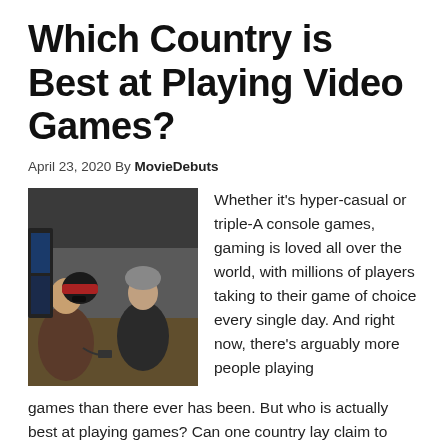Which Country is Best at Playing Video Games?
April 23, 2020 By MovieDebuts
[Figure (photo): Photo of young people playing video games at what appears to be a gaming event or tournament, seated with controllers and gaming equipment.]
Whether it's hyper-casual or triple-A console games, gaming is loved all over the world, with millions of players taking to their game of choice every single day. And right now, there's arguably more people playing games than there ever has been. But who is actually best at playing games? Can one country lay claim to being the